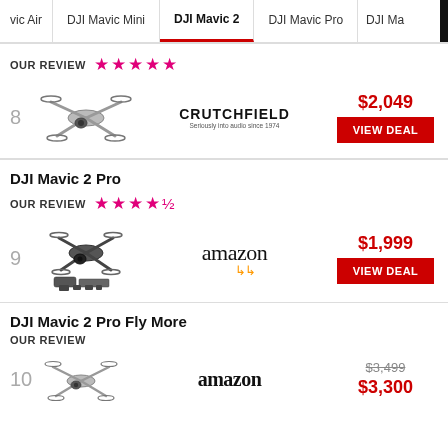DJI Mavic Air | DJI Mavic Mini | DJI Mavic 2 | DJI Mavic Pro | DJI Mav...
OUR REVIEW ★★★★★
8 | Crutchfield | $2,049 | VIEW DEAL
DJI Mavic 2 Pro
OUR REVIEW ★★★★½
9 | Amazon | $1,999 | VIEW DEAL
DJI Mavic 2 Pro Fly More
OUR REVIEW
10 | Amazon | $3,499 (strikethrough) $3,300